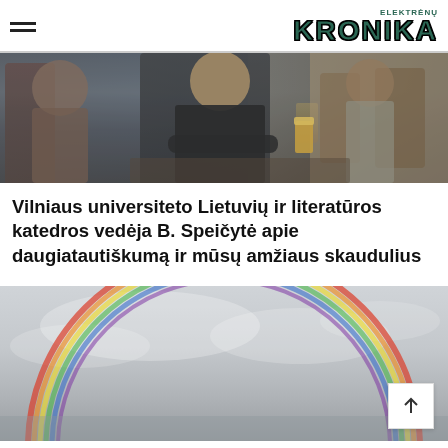ELEKTRĖNŲ KRONIKA
[Figure (photo): Photo of a woman in dark jacket sitting at a cafe table with arms crossed, other people in background, coffee cups on tables]
Vilniaus universiteto Lietuvių ir literatūros katedros vedėja B. Speičytė apie daugiatautiškumą ir mūsų amžiaus skaudulius
[Figure (photo): Photo of a rainbow arc against a grey cloudy sky]